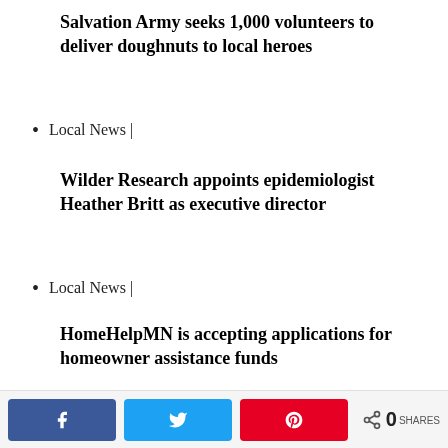Salvation Army seeks 1,000 volunteers to deliver doughnuts to local heroes
Local News |
Wilder Research appoints epidemiologist Heather Britt as executive director
Local News |
HomeHelpMN is accepting applications for homeowner assistance funds
Local News |